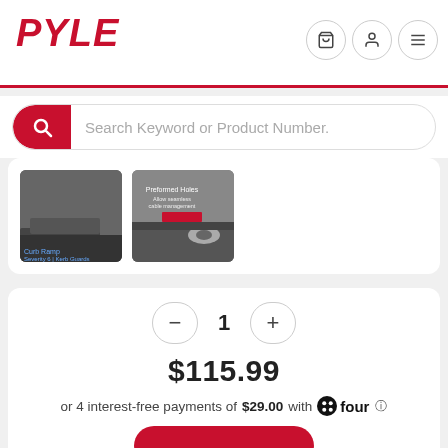PYLE
Search Keyword or Product Number.
[Figure (photo): Two product thumbnail images showing car ramps or curb ramps with vehicles on them]
1
$115.99
or 4 interest-free payments of $29.00 with four ℹ